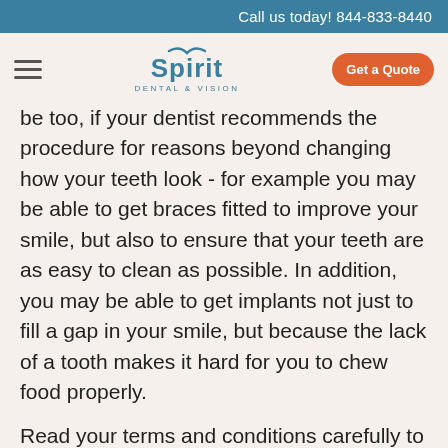Call us today! 844-833-8440
[Figure (logo): Spirit Dental & Vision logo with hamburger menu and Get a Quote button]
be too, if your dentist recommends the procedure for reasons beyond changing how your teeth look - for example you may be able to get braces fitted to improve your smile, but also to ensure that your teeth are as easy to clean as possible. In addition, you may be able to get implants not just to fill a gap in your smile, but because the lack of a tooth makes it hard for you to chew food properly.
Read your terms and conditions carefully to find out what